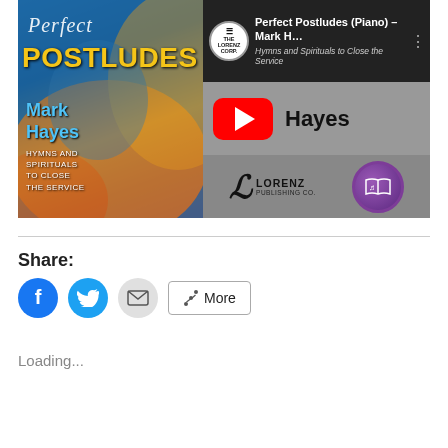[Figure (screenshot): YouTube video thumbnail for 'Perfect Postludes (Piano) – Mark Hayes' by Lorenz Publishing Co. Left panel shows the book cover with colorful abstract art, title 'Perfect Postludes' by Mark Hayes, subtitle 'Hymns and Spirituals to Close the Service'. Right panel top shows the Lorenz Corp logo, video title 'Perfect Postludes (Piano) – Mark Hayes' and subtitle 'Hymns and Spirituals to Close the Service'. Right middle shows a YouTube play button and 'Hayes' text. Right bottom shows Lorenz Publishing Co. logo and a purple audio book icon.]
Share:
[Figure (infographic): Social share buttons: Facebook (blue circle with f), Twitter (blue circle with bird), Email (grey circle with envelope), and a More button with share icon.]
Loading...